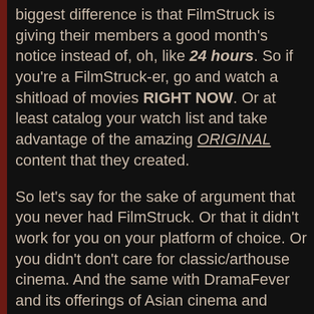biggest difference is that FilmStruck is giving their members a good month's notice instead of, oh, like 24 hours. So if you're a FilmStruck-er, go and watch a shitload of movies RIGHT NOW. Or at least catalog your watch list and take advantage of the amazing ORIGINAL content that they created.
So let's say for the sake of argument that you never had FilmStruck. Or that it didn't work for you on your platform of choice. Or you didn't don't care for classic/arthouse cinema. And the same with DramaFever and its offerings of Asian cinema and television. OK, totally your choice. That said, the way